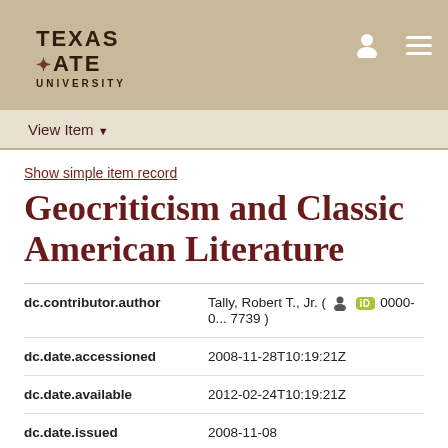[Figure (logo): Texas State University logo with star icon in header bar]
View Item
Show simple item record
Geocriticism and Classic American Literature
| Field | Value |
| --- | --- |
| dc.contributor.author | Tally, Robert T., Jr. ( [person icon] [iD] 0000-0... 7739 ) |
| dc.date.accessioned | 2008-11-28T10:19:21Z |
| dc.date.available | 2012-02-24T10:19:21Z |
| dc.date.issued | 2008-11-08 |